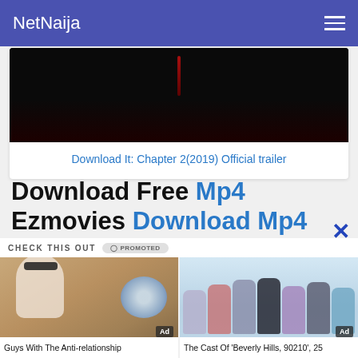NetNaija
[Figure (screenshot): Dark video thumbnail showing a horror/red glow scene from 'It: Chapter 2']
Download It: Chapter 2(2019) Official trailer
Download Free Mp4 Ezmovies Download Mp4
CHECK THIS OUT
[Figure (photo): Man with sunglasses sitting in a private jet plane seat]
Guys With The Anti-relationship
[Figure (photo): Group photo of cast of Beverly Hills 90210]
The Cast Of 'Beverly Hills, 90210', 25